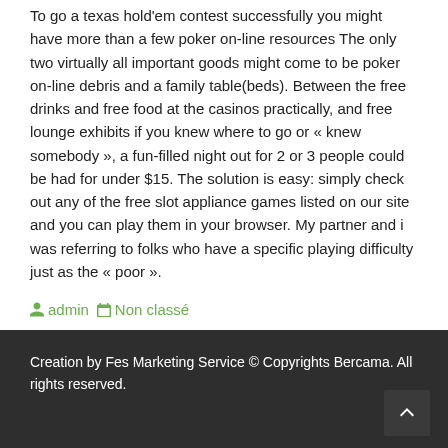To go a texas hold'em contest successfully you might have more than a few poker on-line resources The only two virtually all important goods might come to be poker on-line debris and a family table(beds). Between the free drinks and free food at the casinos practically, and free lounge exhibits if you knew where to go or « knew somebody », a fun-filled night out for 2 or 3 people could be had for under $15. The solution is easy: simply check out any of the free slot appliance games listed on our site and you can play them in your browser. My partner and i was referring to folks who have a specific playing difficulty just as the « poor ».
admin   Non classé
Creation by Fes Marketing Service © Copyrights Bercama. All rights reserved.